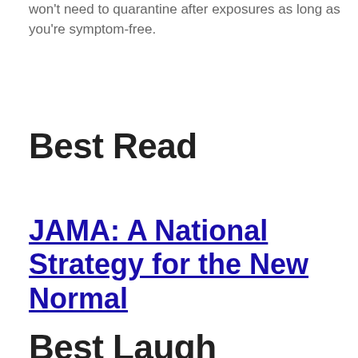won't need to quarantine after exposures as long as you're symptom-free.
Best Read
JAMA: A National Strategy for the New Normal
Best Laugh